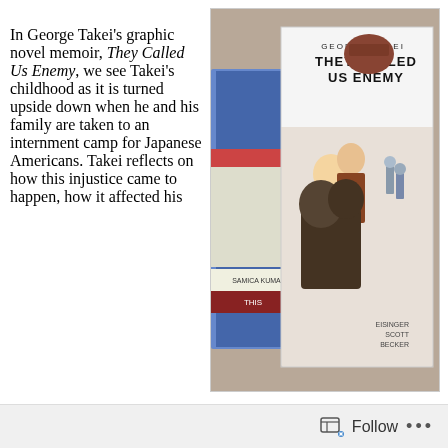In George Takei's graphic novel memoir, They Called Us Enemy, we see Takei's childhood as it is turned upside down when he and his family are taken to an internment camp for Japanese Americans. Takei reflects on how this injustice came to happen, how it affected his
[Figure (photo): Photo of the book 'They Called Us Enemy' by George Takei, Scott, Becker — a graphic novel memoir — standing upright against a stack of other books on a carpeted surface. The book cover shows a young Japanese-American boy and figures marching, with title text reading 'GEORGE TAKEI THEY CALLED US ENEMY'.]
Follow ...